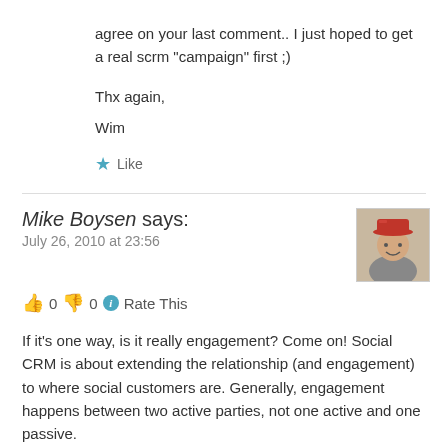agree on your last comment.. I just hoped to get a real scrm “campaign” first ;)
Thx again,
Wim
★ Like
Mike Boysen says:
July 26, 2010 at 23:56
👍 0 👎 0 ⓘ Rate This
If it's one way, is it really engagement? Come on! Social CRM is about extending the relationship (and engagement) to where social customers are. Generally, engagement happens between two active parties, not one active and one passive.
Sorry, wrong definition of Social CRM, no matter how many